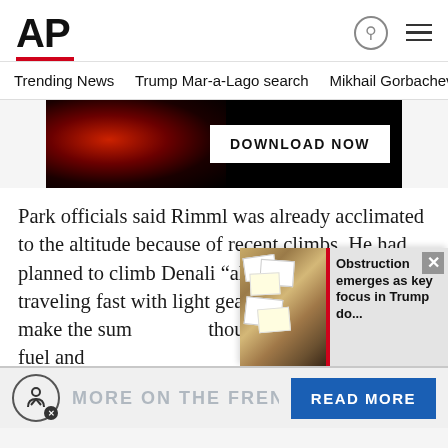AP
Trending News   Trump Mar-a-Lago search   Mikhail Gorbachev d
[Figure (screenshot): Dark advertisement banner with fire/ember imagery on the left and a white DOWNLOAD NOW button on the right]
Park officials said Rimml was already acclimated to the altitude because of recent climbs. He had planned to climb Denali “alpine style,” or traveling fast with light gear. His goal was to make the sum though he carried enough fuel and
[Figure (screenshot): Popup overlay showing documents photo with text: Obstruction emerges as key focus in Trump do...]
MORE ON THE FRENCH O
READ MORE